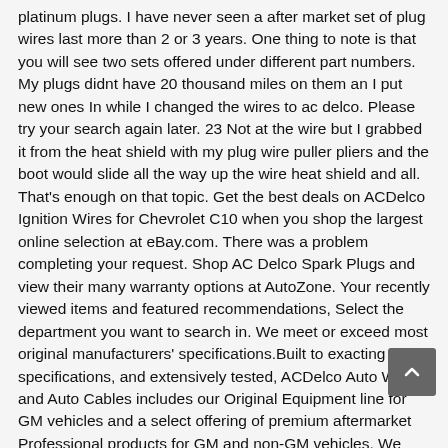platinum plugs. I have never seen a after market set of plug wires last more than 2 or 3 years. One thing to note is that you will see two sets offered under different part numbers. My plugs didnt have 20 thousand miles on them an I put new ones In while I changed the wires to ac delco. Please try your search again later. 23 Not at the wire but I grabbed it from the heat shield with my plug wire puller pliers and the boot would slide all the way up the wire heat shield and all. That's enough on that topic. Get the best deals on ACDelco Ignition Wires for Chevrolet C10 when you shop the largest online selection at eBay.com. There was a problem completing your request. Shop AC Delco Spark Plugs and view their many warranty options at AutoZone. Your recently viewed items and featured recommendations, Select the department you want to search in. We meet or exceed most original manufacturers' specifications.Built to exacting specifications, and extensively tested, ACDelco Auto Wires and Auto Cables includes our Original Equipment line for GM vehicles and a select offering of premium aftermarket Professional products for GM and non-GM vehicles. We need more information to help you find the right products for your vehicle. Spark Plug Wire Set